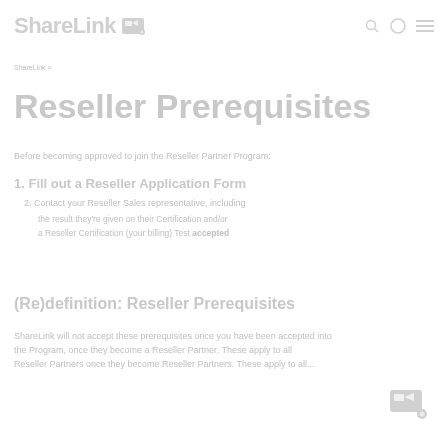ShareLink
Reseller Prerequisites
Reseller Prerequisites
Before becoming approved to join the Reseller Partner Program:
1. Fill out a Reseller Application Form
2. Contact your Reseller Sales representative, including the result they're given on their Certification and/or any technical assessment(s) if applicable
(Re)definition: Reseller Prerequisites
ShareLink will not accept these prerequisites once you have been accepted into the Program, once they become a Reseller Partner. These apply to all...